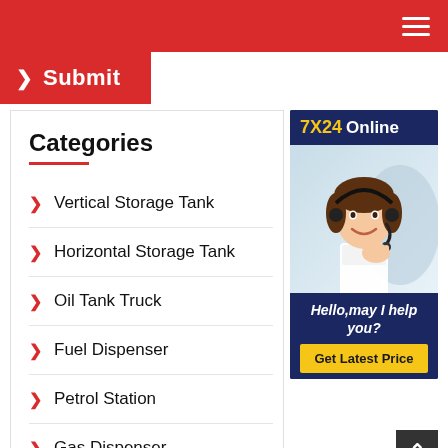Submit
Categories
Vertical Storage Tank
Horizontal Storage Tank
Oil Tank Truck
Fuel Dispenser
Petrol Station
Gas Dispenser
[Figure (illustration): 7X24 Online customer service widget showing a smiling woman with a headset, with text 'Hello, may I help you?' and a 'Get Latest Price' button on a dark blue background]